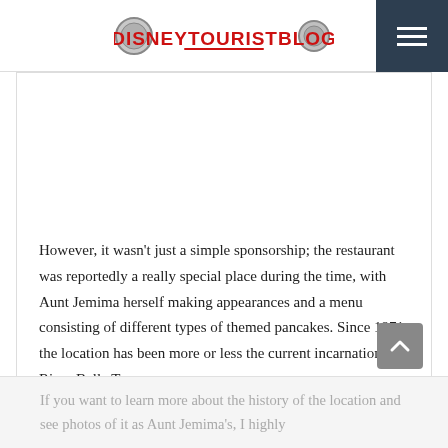DISNEYTOURISTBLOG
[Figure (other): Empty white image placeholder area]
However, it wasn't just a simple sponsorship; the restaurant was reportedly a really special place during the time, with Aunt Jemima herself making appearances and a menu consisting of different types of themed pancakes. Since 1971, the location has been more or less the current incarnation, River Belle Terrace.
If you want to learn more about the history of the location and see photos of it as Aunt Jemima's, I highly